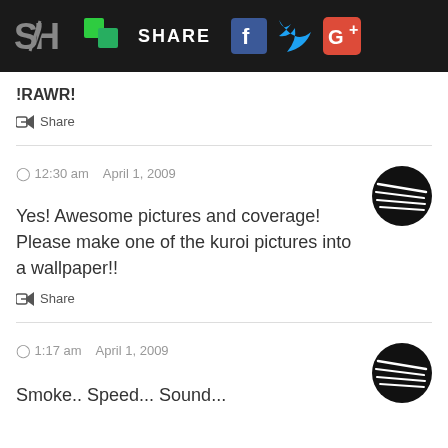SH | SHARE | f | Twitter | G+
!RAWR!
Share
12:30 am   April 1, 2009
Yes! Awesome pictures and coverage! Please make one of the kuroi pictures into a wallpaper!!
Share
1:17 am   April 1, 2009
Smoke.. Speed... Sound...